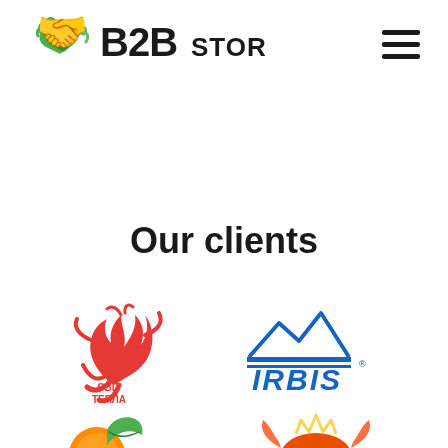B2B Store logo and navigation
Our clients
[Figure (logo): Svit Tepla logo - red phoenix/flame bird with Cyrillic text СВІТ ТЕПЛА]
[Figure (logo): IRBIS logo - blue mountain silhouette above blue text IRBIS with horizontal lines]
[Figure (logo): Partial logo - orange/green fruit/leaf logo partially visible at bottom left]
[Figure (logo): Partial logo - colorful crab/seafood logo partially visible at bottom right]